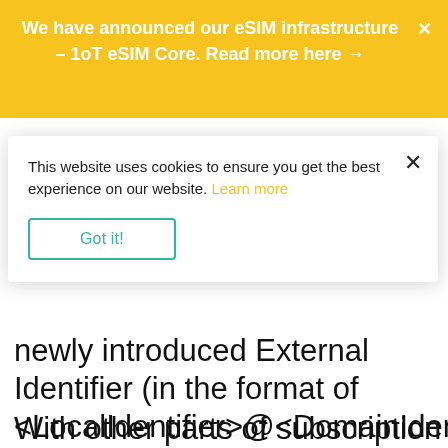We have announced our eSIM infrastructure – 1oT eSIM Core. Read more here →
This website uses cookies to ensure you get the best experience on our website. Learn more
Got it!
newly introduced External Identifier (in the format of <LocalIdentifier>@<DomainIdentifier>)
With other parts of subscription data (ICCID, IMSI), it will allow for